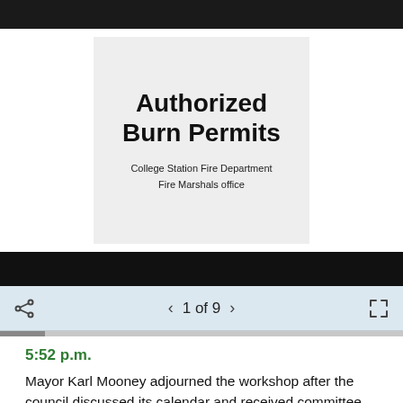[Figure (screenshot): A document viewer screenshot showing the cover page of an 'Authorized Burn Permits' document from College Station Fire Department, Fire Marshals office. The viewer shows navigation controls: share icon, left arrow, '1 of 9', right arrow, and fullscreen icon. The document is displayed on a light gray background within the viewer.]
5:52 p.m.
Mayor Karl Mooney adjourned the workshop after the council discussed its calendar and received committee